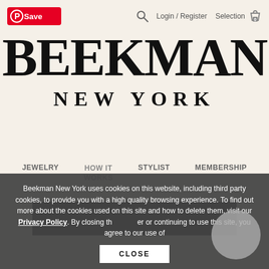[Figure (screenshot): Pinterest Save button with red background and white text]
Login / Register   Selection 0
BEEKMAN
NEW YORK
JEWELRY   HOW IT WORKS   STYLIST   MEMBERSHIP
Beekman New York uses cookies on this website, including third party cookies, to provide you with a high quality browsing experience. To find out more about the cookies used on this site and how to delete them, visit our Privacy Policy. By closing this banner or continuing to use this site, you agree to our use of
CLOSE